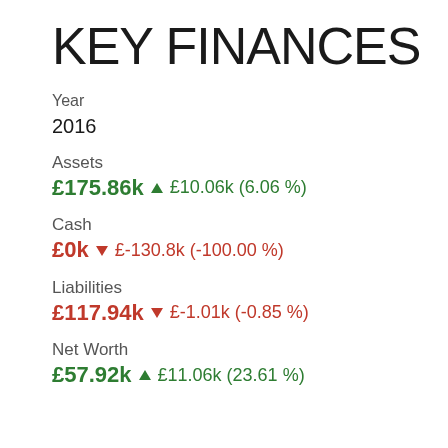KEY FINANCES
Year
2016
Assets
£175.86k ▲ £10.06k (6.06 %)
Cash
£0k ▼ £-130.8k (-100.00 %)
Liabilities
£117.94k ▼ £-1.01k (-0.85 %)
Net Worth
£57.92k ▲ £11.06k (23.61 %)